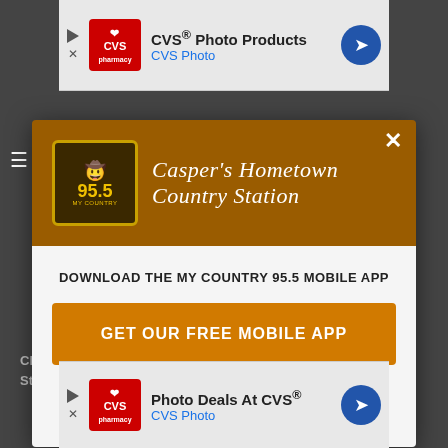[Figure (screenshot): Top CVS Photo Products advertisement banner with CVS logo, text 'CVS® Photo Products / CVS Photo', play and close icons, and blue diamond arrow icon]
[Figure (screenshot): Modal popup for My Country 95.5 radio station app download. Brown header with station logo showing '95.5' and tagline 'Casper's Hometown Country Station'. White body with text 'DOWNLOAD THE MY COUNTRY 95.5 MOBILE APP', orange CTA button 'GET OUR FREE MOBILE APP', and 'Also listen on: [Alexa ring icon] amazon alexa'. White X close button in top right.]
[Figure (screenshot): Bottom CVS Photo advertisement banner with CVS pharmacy logo, text 'Photo Deals At CVS® / CVS Photo', play and close icons, and blue diamond arrow icon. Partially visible text 'Cheap' and 'Structu' on left side. 'Offer' button partially visible on right.]